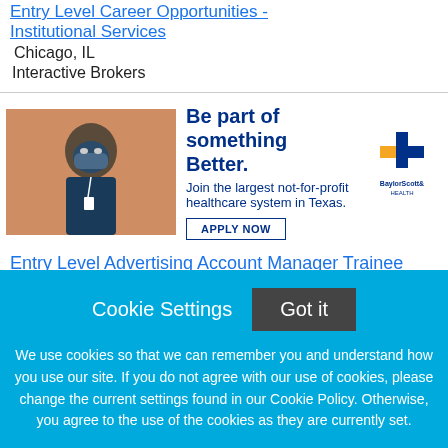Entry Level Career Opportunities - Institutional Services
Chicago, IL
Interactive Brokers
[Figure (illustration): Advertisement banner for BaylorScott&White Health showing a healthcare worker in scrubs and mask, with text 'Be part of something Better. Join the largest not-for-profit healthcare system in Texas.' and an APPLY NOW button, plus the BaylorScott& Health logo.]
Entry Level Advertising Account Manager Trainee
Bridgeport, CT
Reynolds and Reynolds
Cookie Settings  Got it
We use cookies so that we can remember you and understand how you use our site. If you do not agree with our use of cookies, please change the current settings found in our Cookie Policy. Otherwise, you agree to the use of the cookies as they are currently set.